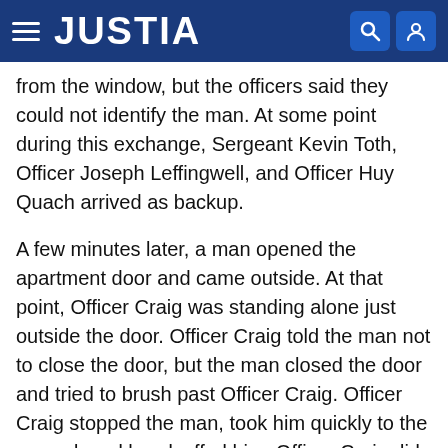JUSTIA
from the window, but the officers said they could not identify the man. At some point during this exchange, Sergeant Kevin Toth, Officer Joseph Leffingwell, and Officer Huy Quach arrived as backup.
A few minutes later, a man opened the apartment door and came outside. At that point, Officer Craig was standing alone just outside the door. Officer Craig told the man not to close the door, but the man closed the door and tried to brush past Officer Craig. Officer Craig stopped the man, took him quickly to the ground, and handcuffed him. Officer Craig did not hit the man or display any weapon. The video shows that the man was not in any visible or audible pain as a result of the takedown or while on the ground. Within a few minutes, officers helped the man up and arrested him for a misdemeanor offense of resisting and delaying a police